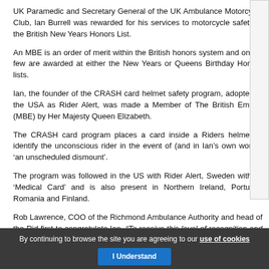UK Paramedic and Secretary General of the UK Ambulance Motorcycle Club, Ian Burrell was rewarded for his services to motorcycle safety in the British New Years Honors List.
An MBE is an order of merit within the British honors system and only a few are awarded at either the New Years or Queens Birthday Honors lists.
Ian, the founder of the CRASH card helmet safety program, adopted in the USA as Rider Alert, was made a Member of The British Empire (MBE) by Her Majesty Queen Elizabeth.
The CRASH card program places a card inside a Riders helmet to identify the unconscious rider in the event of (and in Ian’s own words) ‘an unscheduled dismount’.
The program was followed in the US with Rider Alert, Sweden with its ‘Medical Card’ and is also present in Northern Ireland, Portugal, Romania and Finland.
Rob Lawrence, COO of the Richmond Ambulance Authority and head of the Rid first to congratulate Ian. “To receive this level of recognition and ultimately royal Ian is delighted not only for himself but for the great things all the new global saf
By continuing to browse the site you are agreeing to our use of cookies